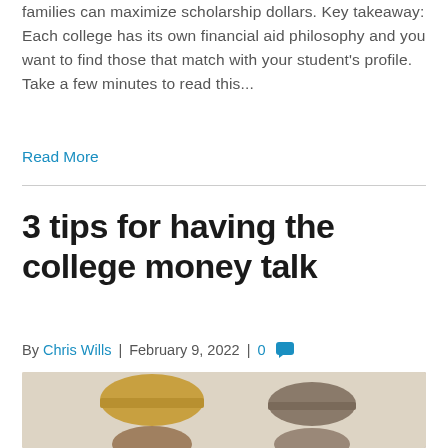families can maximize scholarship dollars. Key takeaway: Each college has its own financial aid philosophy and you want to find those that match with your student's profile. Take a few minutes to read this...
Read More
3 tips for having the college money talk
By Chris Wills  |  February 9, 2022  |  0 [comment]
[Figure (photo): Two people wearing hats photographed from approximately chest up against a light beige/gray background. Left person wears a tan/straw hat and right person has darker hair.]